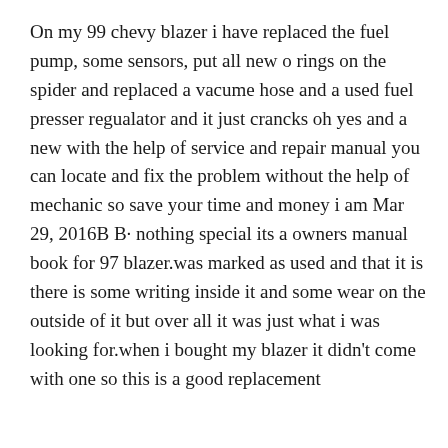On my 99 chevy blazer i have replaced the fuel pump, some sensors, put all new o rings on the spider and replaced a vacume hose and a used fuel presser regualator and it just crancks oh yes and a new with the help of service and repair manual you can locate and fix the problem without the help of mechanic so save your time and money i am Mar 29, 2016B B· nothing special its a owners manual book for 97 blazer.was marked as used and that it is there is some writing inside it and some wear on the outside of it but over all it was just what i was looking for.when i bought my blazer it didn't come with one so this is a good replacement